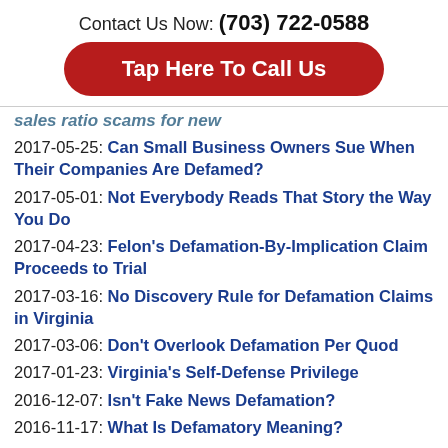Contact Us Now: (703) 722-0588
Tap Here To Call Us
sales ratio scams for new (partial, cut off)
2017-05-25: Can Small Business Owners Sue When Their Companies Are Defamed?
2017-05-01: Not Everybody Reads That Story the Way You Do
2017-04-23: Felon's Defamation-By-Implication Claim Proceeds to Trial
2017-03-16: No Discovery Rule for Defamation Claims in Virginia
2017-03-06: Don't Overlook Defamation Per Quod
2017-01-23: Virginia's Self-Defense Privilege
2016-12-07: Isn't Fake News Defamation?
2016-11-17: What Is Defamatory Meaning?
2016-10-28: Former Boss Fired You But Tells